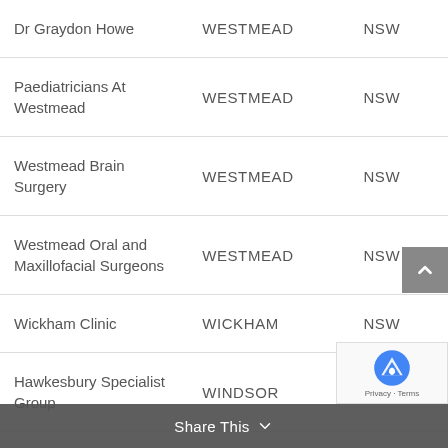| Dr Graydon Howe | WESTMEAD | NSW |
| Paediatricians At Westmead | WESTMEAD | NSW |
| Westmead Brain Surgery | WESTMEAD | NSW |
| Westmead Oral and Maxillofacial Surgeons | WESTMEAD | NSW |
| Wickham Clinic | WICKHAM | NSW |
| Hawkesbury Specialist Group | WINDSOR | NSW |